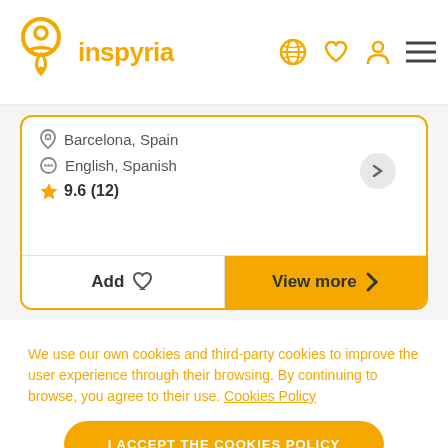inspyria
Barcelona, Spain
English, Spanish
9.6 (12)
Add
View more
We use our own cookies and third-party cookies to improve the user experience through their browsing. By continuing to browse, you agree to their use. Cookies Policy
I ACCEPT THE COOKIES POLICY